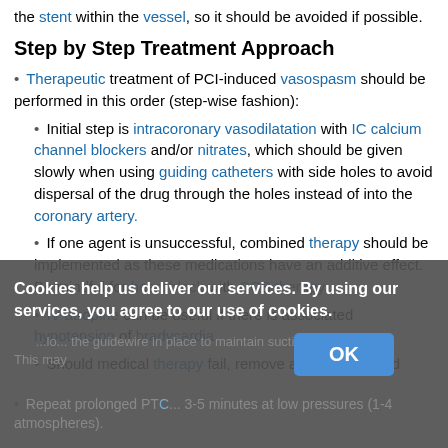the stent within the vessel, so it should be avoided if possible.
Step by Step Treatment Approach
Therapeutic treatment of PCI-induced vasospasm should be performed in this order (step-wise fashion):
Initial step is intracoronary vasodilatation with IC calcium channel blockers and/or nitrates, which should be given slowly when using guiding catheters with side holes to avoid dispersal of the drug through the holes instead of into the coronary artery.
If one agent is unsuccessful, combined therapy should be implemented as these medications have an additive effect. Be mindful for heart block with CCB therapy.
IV atropine can be useful if there is associated hypotension of bradycardia.
Should medical therapy fail, remove all hardware and ...
Repeat prolonged PTC... 3-5 minutes at low pressures (1-4 atmospheres).
Cookies help us deliver our services. By using our services, you agree to our use of cookies.